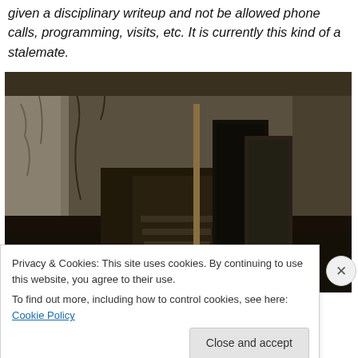given a disciplinary writeup and not be allowed phone calls, programming, visits, etc. It is currently this kind of a stalemate.
[Figure (photo): Photograph of a fire-damaged room or cell interior showing charred debris, burned structural elements, stairs, and destruction from a fire incident]
Privacy & Cookies: This site uses cookies. By continuing to use this website, you agree to their use.
To find out more, including how to control cookies, see here: Cookie Policy